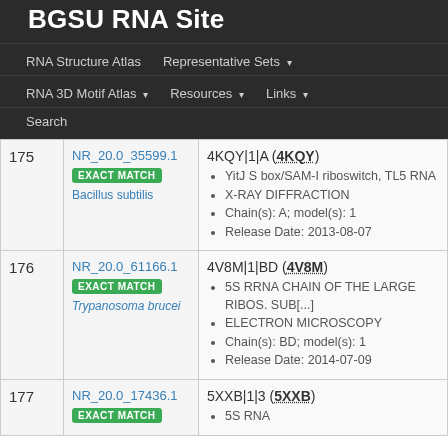BGSU RNA Site
RNA Structure Atlas | Representative Sets ▾
RNA 3D Motif Atlas ▾ | Resources ▾ | Links ▾
Search
| # | ID / Match | Details |
| --- | --- | --- |
| 175 | NR_20.0_35599.1
EXACT MATCH
Bacillus subtilis | 4KQY|1|A (4KQY)
• YitJ S box/SAM-I riboswitch, TL5 RNA
• X-RAY DIFFRACTION
• Chain(s): A; model(s): 1
• Release Date: 2013-08-07 |
| 176 | NR_20.0_61166.1
EXACT MATCH
Trypanosoma brucei | 4V8M|1|BD (4V8M)
• 5S RRNA CHAIN OF THE LARGE RIBOS. SUB[...]
• ELECTRON MICROSCOPY
• Chain(s): BD; model(s): 1
• Release Date: 2014-07-09 |
| 177 | NR_20.0_17436.1
EXACT MATCH | 5XXB|1|3 (5XXB)
• 5S RNA |